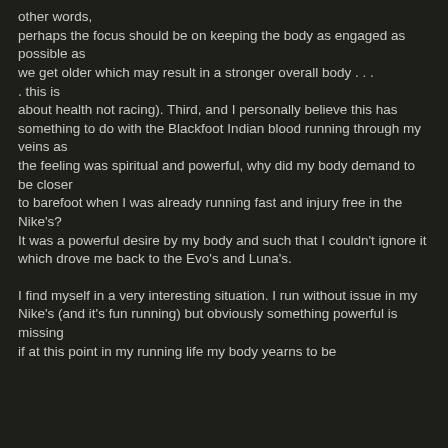other words, perhaps the focus should be on keeping the body as engaged as possible as we get older which may result in a stronger overall body . . . this is about health not racing). Third, and I personally believe this has something to do with the Blackfoot Indian blood running through my veins as the feeling was spiritual and powerful, why did my body demand to be closer to barefoot when I was already running fast and injury free in the Nike's? It was a powerful desire by my body and such that I couldn't ignore it which drove me back to the Evo's and Luna's.
I find myself in a very interesting situation. I run without issue in my Nike's (and it's fun running) but obviously something powerful is missing if at this point in my running life my body yearns to be